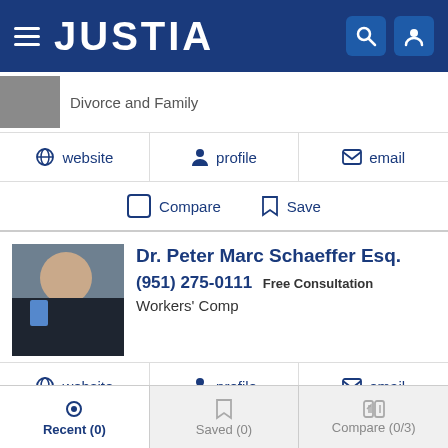JUSTIA
Divorce and Family
website | profile | email
Compare | Save
Dr. Peter Marc Schaeffer Esq.
(951) 275-0111 Free Consultation
Workers' Comp
website | profile | email
Compare | Save
James Johnson Esq.
Recent (0) | Saved (0) | Compare (0/3)